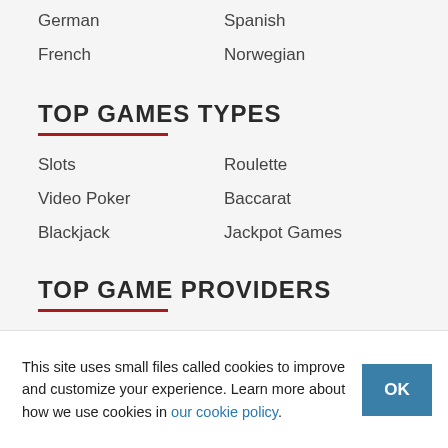German
Spanish
French
Norwegian
TOP GAMES TYPES
Slots
Roulette
Video Poker
Baccarat
Blackjack
Jackpot Games
TOP GAME PROVIDERS
Microgaming
NetEnt
This site uses small files called cookies to improve and customize your experience. Learn more about how we use cookies in our cookie policy.